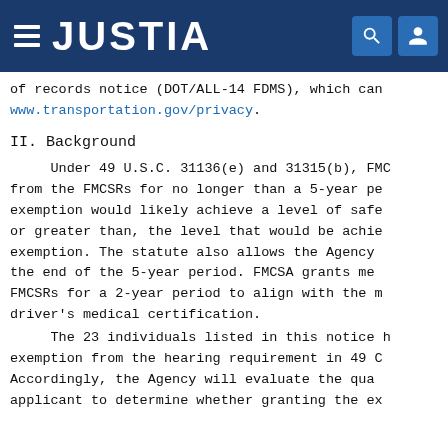JUSTIA
of records notice (DOT/ALL-14 FDMS), which can be found at www.transportation.gov/privacy.
II.  Background
Under 49 U.S.C. 31136(e) and 31315(b), FMCSA may grant an exemption from the FMCSRs for no longer than a 5-year period if it finds such exemption would likely achieve a level of safety that is equivalent to, or greater than, the level that would be achieved absent such exemption. The statute also allows the Agency to renew exemptions at the end of the 5-year period. FMCSA grants medical exemptions from the FMCSRs for a 2-year period to align with the maximum duration of a driver's medical certification.
The 23 individuals listed in this notice have requested an exemption from the hearing requirement in 49 CFR 391.41(b)(11). Accordingly, the Agency will evaluate the qualifications of each applicant to determine whether granting the exemption would